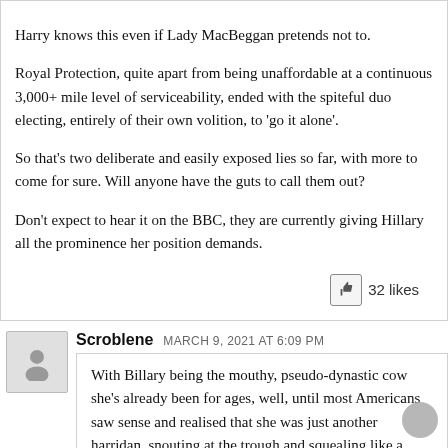Harry knows this even if Lady MacBeggan pretends not to.
Royal Protection, quite apart from being unaffordable at a continuous 3,000+ mile level of serviceability, ended with the spiteful duo electing, entirely of their own volition, to ‘go it alone’.
So that’s two deliberate and easily exposed lies so far, with more to come for sure. Will anyone have the guts to call them out?
Don’t expect to hear it on the BBC, they are currently giving Hillary all the prominence her position demands.
32 likes
Scroblene  MARCH 9, 2021 AT 6:09 PM
With Billary being the mouthy, pseudo-dynastic cow she’s already been for ages, well, until most Americans saw sense and realised that she was just another harridan, snouting at the trough and squealing like a stuck pig, it’s no wonder the awful bbc will pander to her vanities, and try and make her some sort of victim trorette. Any bandwagon will do, just to